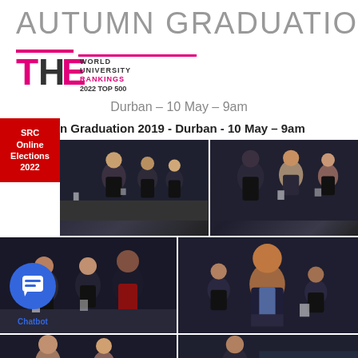AUTUMN GRADUATION
[Figure (logo): Times Higher Education World University Rankings 2022 Top 500 logo]
Durban – 10 May – 9am
SRC Online Elections 2022
n Graduation 2019 - Durban - 10 May – 9am
[Figure (photo): Graduation ceremony photo - attendees in academic gowns seated in rows, top left]
[Figure (photo): Graduation ceremony photo - attendees in academic gowns seated, top right]
[Figure (photo): Graduation ceremony photo - graduates in academic gowns, middle left]
[Figure (photo): Graduation ceremony photo - smiling graduate in gown, middle right]
[Figure (photo): Graduation ceremony photo - bottom left partial]
[Figure (photo): Graduation ceremony photo - bottom right partial]